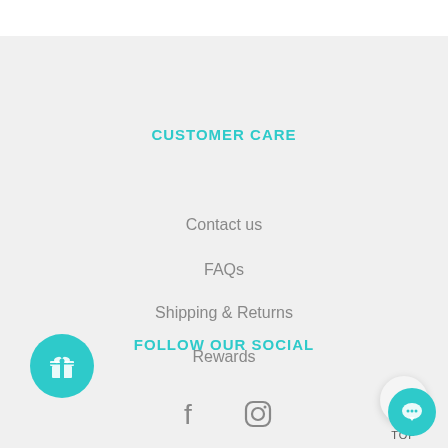CUSTOMER CARE
Contact us
FAQs
Shipping & Returns
Rewards
FOLLOW OUR SOCIAL
[Figure (illustration): Gift box icon in teal circle]
[Figure (illustration): Facebook and Instagram social media icons]
[Figure (illustration): Back to top button with upward arrow]
[Figure (illustration): Chat bubble icon in teal circle]